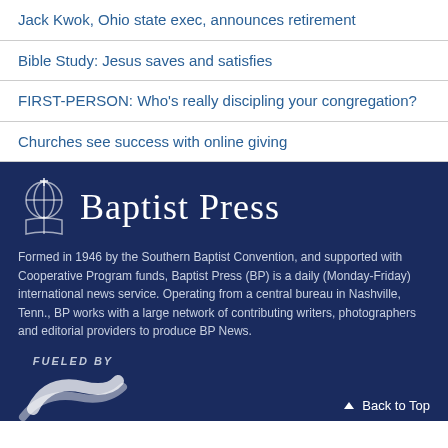Jack Kwok, Ohio state exec, announces retirement
Bible Study: Jesus saves and satisfies
FIRST-PERSON: Who's really discipling your congregation?
Churches see success with online giving
[Figure (logo): Baptist Press logo with globe/cross icon and serif text]
Formed in 1946 by the Southern Baptist Convention, and supported with Cooperative Program funds, Baptist Press (BP) is a daily (Monday-Friday) international news service. Operating from a central bureau in Nashville, Tenn., BP works with a large network of contributing writers, photographers and editorial providers to produce BP News.
[Figure (logo): Fueled By Cooperative Program logo]
Back to Top